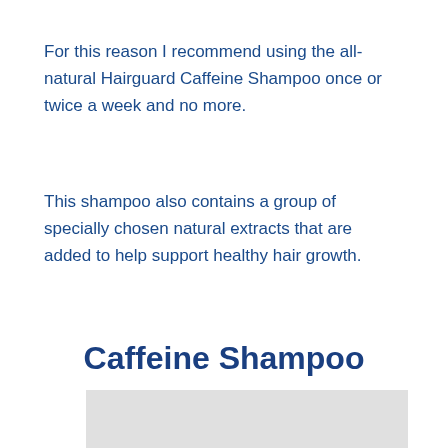For this reason I recommend using the all-natural Hairguard Caffeine Shampoo once or twice a week and no more.
This shampoo also contains a group of specially chosen natural extracts that are added to help support healthy hair growth.
Caffeine Shampoo
[Figure (photo): Light grey placeholder image for Caffeine Shampoo product]